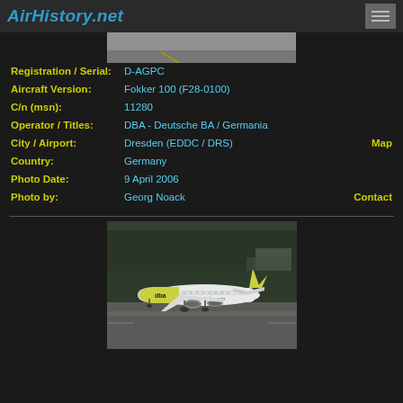AirHistory.net
[Figure (photo): Partial top view of an aircraft on tarmac (cropped)]
| Registration / Serial: | D-AGPC |
| Aircraft Version: | Fokker 100 (F28-0100) |
| C/n (msn): | 11280 |
| Operator / Titles: | DBA - Deutsche BA / Germania |
| City / Airport: | Dresden (EDDC / DRS) | Map |
| Country: | Germany |
| Photo Date: | 9 April 2006 |
| Photo by: | Georg Noack | Contact |
[Figure (photo): DBA - Deutsche BA / Germania Fokker 100 aircraft with green/yellow livery and 'dba' logo on tarmac at Dresden airport, showing www.flydba.com on fuselage]